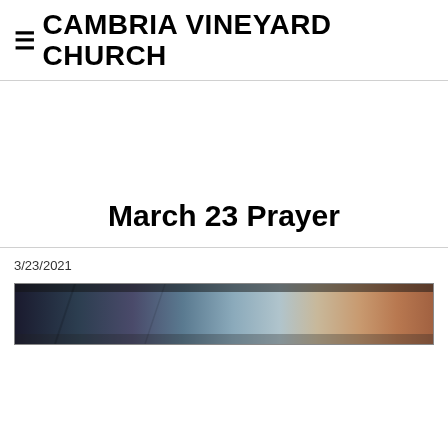≡CAMBRIA VINEYARD CHURCH
March 23 Prayer
3/23/2021
[Figure (photo): Partial image of a scene, cropped at bottom of page]